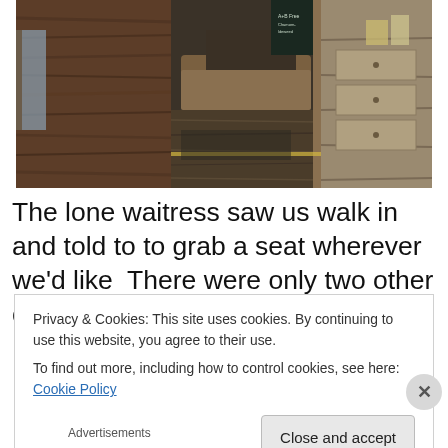[Figure (photo): Interior of a rustic restaurant or cabin with wood-paneled walls, wooden flooring, booth seating with cushions, a chalkboard menu sign, and a wooden dresser or cabinet visible in the background.]
The lone waitress saw us walk in and told to to grab a seat wherever we'd like  There were only two other couples
Privacy & Cookies: This site uses cookies. By continuing to use this website, you agree to their use.
To find out more, including how to control cookies, see here: Cookie Policy
Close and accept
Advertisements